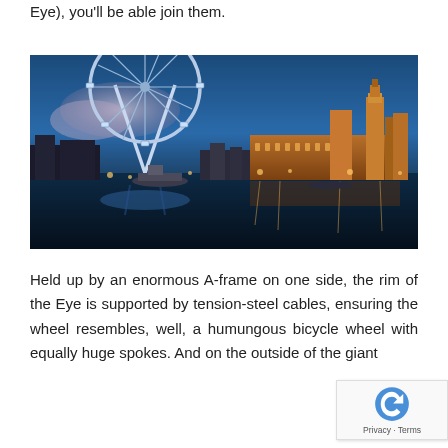Eye), you'll be able join them.
[Figure (photo): Night-time panoramic photo of the London Eye (a large illuminated Ferris wheel) on the left and the Houses of Parliament with Big Ben on the right, reflected in the River Thames, with a blue twilight sky.]
Held up by an enormous A-frame on one side, the rim of the Eye is supported by tension-steel cables, ensuring the wheel resembles, well, a humungous bicycle wheel with equally huge spokes. And on the outside of the giant